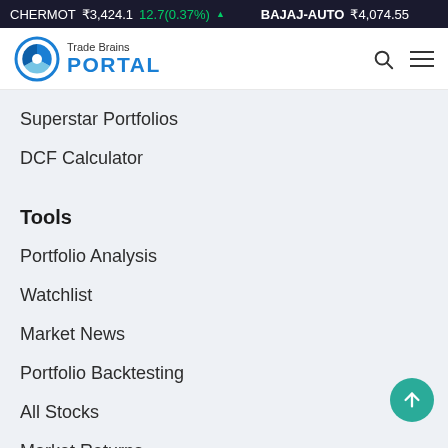CHERMOT ₹3,424.1  12.7(0.37%) ▲   BAJAJ-AUTO ₹4,074.55
[Figure (logo): Trade Brains Portal logo with circular chart icon and blue PORTAL text]
Superstar Portfolios
DCF Calculator
Tools
Portfolio Analysis
Watchlist
Market News
Portfolio Backtesting
All Stocks
Market Returns